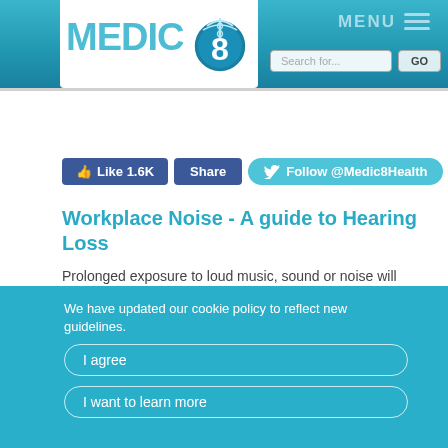[Figure (logo): Medic8 logo with caduceus symbol inside a teal circle, white background box, teal header bar with MENU text and search bar]
[Figure (screenshot): Social media buttons: Like 1.6K (Facebook), Share (Facebook), Follow @Medic8Health (Twitter)]
Workplace Noise - A guide to Hearing Loss
Prolonged exposure to loud music, sound or noise will compromise your hearing and can result in permanent damage. And this applies whether you are at home, on the move or at work.
We have updated our cookie policy to reflect new guidelines.